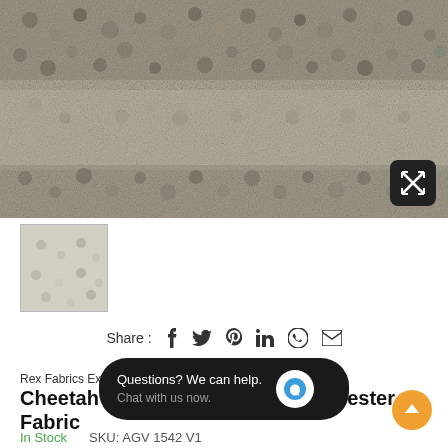[Figure (photo): Close-up texture photo of Cheetah Abstract Charmeuse Polyester Fabric showing mottled beige, grey, and brown abstract pattern]
[Figure (photo): Small thumbnail of fabric texture, lighter grey-beige tones]
Share : f  t  p  in  (whatsapp)  (email)
Rex Fabrics Exclusive
Cheetah Abstract Charmeuse Polyester Fabric
In Stock     SKU: AGV 1542 V1
7 sold in last 1 ho...
$49.99  $89.99  Save $40.00 (44% off)
Pay in 4 interest-free installments for...
Questions? We can help. Chat with us now.